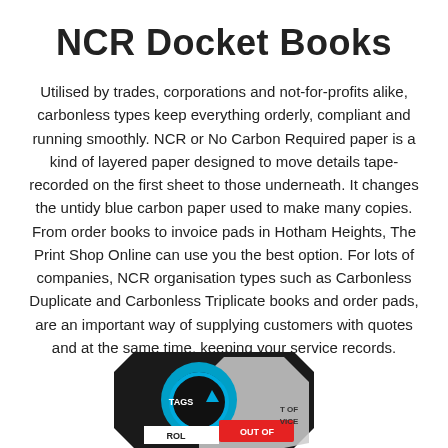NCR Docket Books
Utilised by trades, corporations and not-for-profits alike, carbonless types keep everything orderly, compliant and running smoothly. NCR or No Carbon Required paper is a kind of layered paper designed to move details tape-recorded on the first sheet to those underneath. It changes the untidy blue carbon paper used to make many copies. From order books to invoice pads in Hotham Heights, The Print Shop Online can use you the best option. For lots of companies, NCR organisation types such as Carbonless Duplicate and Carbonless Triplicate books and order pads, are an important way of supplying customers with quotes and at the same time, keeping your service records.
[Figure (photo): Partially visible product tags/labels showing a circular logo with blue arrow and text 'TAGS', 'ROL', 'OUT OF', 'T OF', 'VICE' on red and black background, octagon-shaped hang tag display]